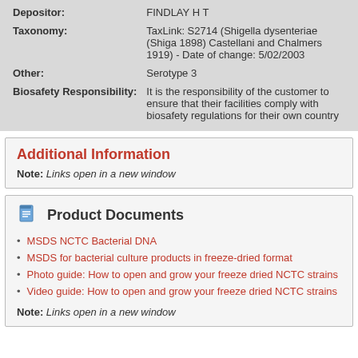| Depositor: | FINDLAY H T |
| Taxonomy: | TaxLink: S2714 (Shigella dysenteriae (Shiga 1898) Castellani and Chalmers 1919) - Date of change: 5/02/2003 |
| Other: | Serotype 3 |
| Biosafety Responsibility: | It is the responsibility of the customer to ensure that their facilities comply with biosafety regulations for their own country |
Additional Information
Note: Links open in a new window
Product Documents
MSDS NCTC Bacterial DNA
MSDS for bacterial culture products in freeze-dried format
Photo guide: How to open and grow your freeze dried NCTC strains
Video guide: How to open and grow your freeze dried NCTC strains
Note: Links open in a new window